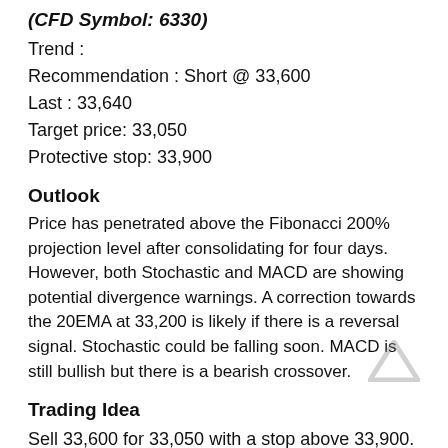(CFD Symbol: 6330)
Trend :
Recommendation : Short @ 33,600
Last : 33,640
Target price: 33,050
Protective stop: 33,900
Outlook
Price has penetrated above the Fibonacci 200% projection level after consolidating for four days. However, both Stochastic and MACD are showing potential divergence warnings. A correction towards the 20EMA at 33,200 is likely if there is a reversal signal. Stochastic could be falling soon. MACD is still bullish but there is a bearish crossover.
Trading Idea
Sell 33,600 for 33,050 with a stop above 33,900.